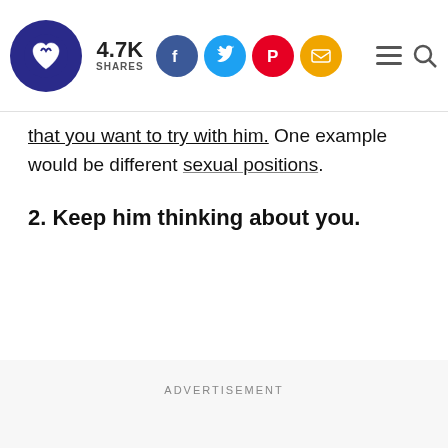4.7K SHARES [Facebook, Twitter, Pinterest, Email social share buttons] [Menu] [Search]
that you want to try with him. One example would be different sexual positions.
2. Keep him thinking about you.
ADVERTISEMENT